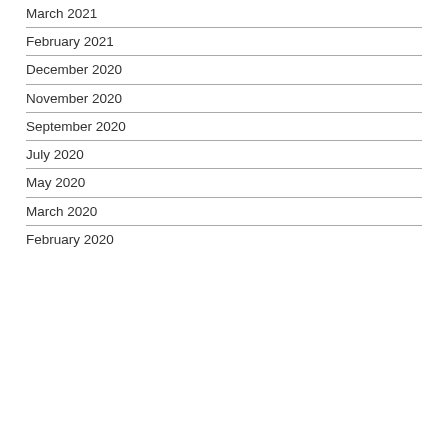March 2021
February 2021
December 2020
November 2020
September 2020
July 2020
May 2020
March 2020
February 2020